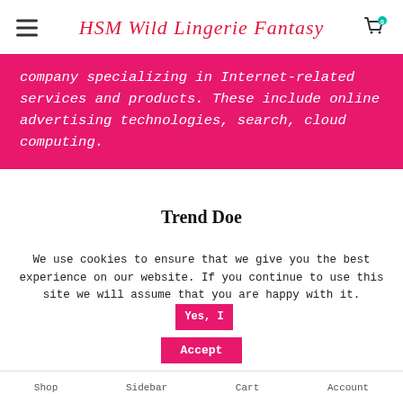HSM Wild Lingerie Fantasy
company specializing in Internet-related services and products. These include online advertising technologies, search, cloud computing.
Trend Doe
Yahoo Inc. is an American multinational Internet corporation headquartered in Sunnyvale, California. It is globally known for its Web portal, search engine Yahoo Search.
We use cookies to ensure that we give you the best experience on our website. If you continue to use this site we will assume that you are happy with it.